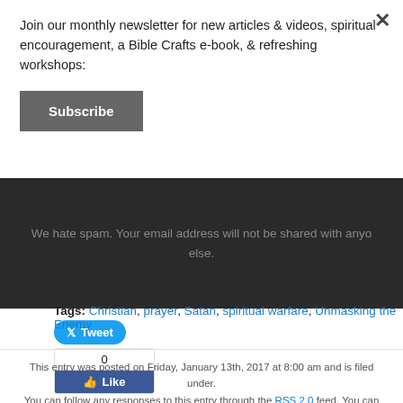×
Join our monthly newsletter for new articles & videos, spiritual encouragement, a Bible Crafts e-book, & refreshing workshops:
Subscribe
We hate spam. Your email address will not be shared with anyone else.
[Figure (other): Tweet button (Twitter/X blue pill-shaped button)]
[Figure (other): Facebook Like widget showing 0 likes]
Tags: Christian, prayer, Satan, spiritual warfare, Unmasking the Enemy
This entry was posted on Friday, January 13th, 2017 at 8:00 am and is filed under. You can follow any responses to this entry through the RSS 2.0 feed. You can skip to the end and leave a response. Pinging is currently not allowed.